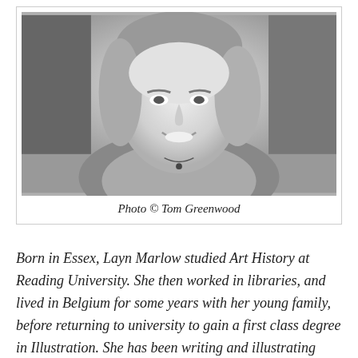[Figure (photo): Black and white portrait photograph of Layn Marlow, a woman with shoulder-length hair, smiling]
Photo © Tom Greenwood
Born in Essex, Layn Marlow studied Art History at Reading University. She then worked in libraries, and lived in Belgium for some years with her young family, before returning to university to gain a first class degree in Illustration. She has been writing and illustrating picture books ever